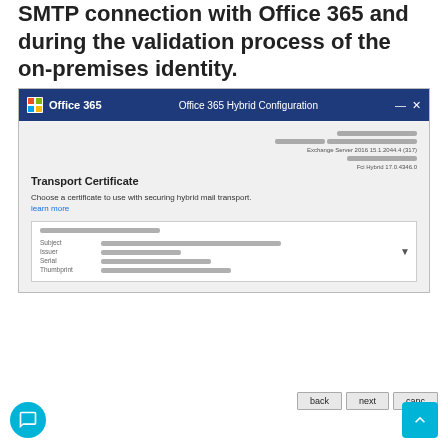SMTP connection with Office 365 and during the validation process of the on-premises identity.
[Figure (screenshot): Office 365 Hybrid Configuration wizard dialog showing the Transport Certificate step. The dialog has a dark blue title bar with the Office 365 logo and 'Office 365 Hybrid Configuration' title with minimize and close controls. The body shows a 'Transport Certificate' section heading with server info blurred on the right, a description 'Choose a certificate to use with securing hybrid mail transport.' and a 'learn more' link, followed by a certificate selection box with blurred/redacted content showing Subject, Issuer, Serial, Thumbprint fields. At the bottom are back, next, and cancel buttons.]